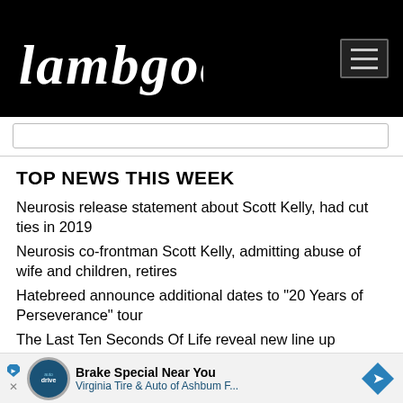Lambgoat
TOP NEWS THIS WEEK
Neurosis release statement about Scott Kelly, had cut ties in 2019
Neurosis co-frontman Scott Kelly, admitting abuse of wife and children, retires
Hatebreed announce additional dates to "20 Years of Perseverance" tour
The Last Ten Seconds Of Life reveal new line up
BlackBraid releases debut album to stellar reviews, listen here
more top...
[Figure (other): Advertisement banner: Brake Special Near You - Virginia Tire & Auto of Ashbum F...]